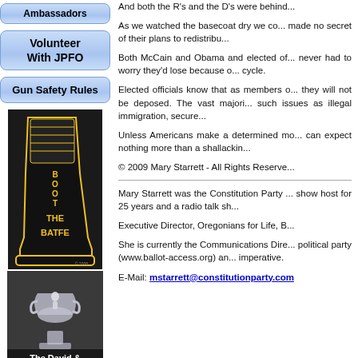[Figure (illustration): Button: Ambassadors (blue gradient rounded rectangle)]
[Figure (illustration): Button: Volunteer With JPFO (blue gradient rounded rectangle)]
[Figure (illustration): Button: Gun Safety Rules (blue gradient rounded rectangle)]
[Figure (illustration): Boot The BATFE - black boot with yellow text illustration, copyright 2008]
[Figure (illustration): The David & Goliath Award - trophy photo with white text overlay]
And both the R's and the D's were behind...
As we watched the basecoat dry we co... made no secret of their plans to redistribu...
Both McCain and Obama and elected of... never had to worry they'd lose because o... cycle.
Elected officials know that as members o... they will not be deposed. The vast majori... such issues as illegal immigration, secure...
Unless Americans make a determined mo... can expect nothing more than a shallackin...
© 2009 Mary Starrett - All Rights Reserve...
Mary Starrett was the Constitution Party ... show host for 25 years and a radio talk sh...
Executive Director, Oregonians for Life, B...
She is currently the Communications Dire... political party (www.ballot-access.org) an... imperative.
E-Mail: mstarrett@constitutionparty.com